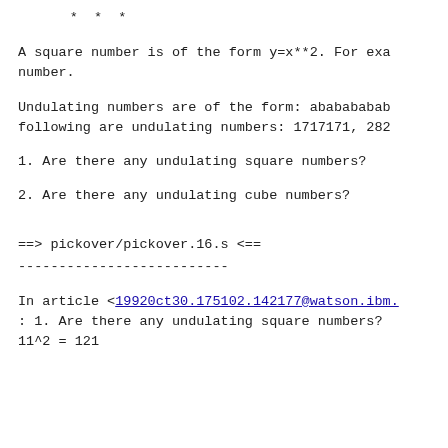* * *
A square number is of the form y=x**2.  For exa
number.
Undulating numbers are of the form:  ababababab
following are undulating numbers:  1717171, 282
1. Are there any undulating square numbers?
2. Are there any undulating cube numbers?
==> pickover/pickover.16.s <==
--------------------------
In article <19920ct30.175102.142177@watson.ibm.
: 1. Are there any undulating square numbers?
11^2 = 121